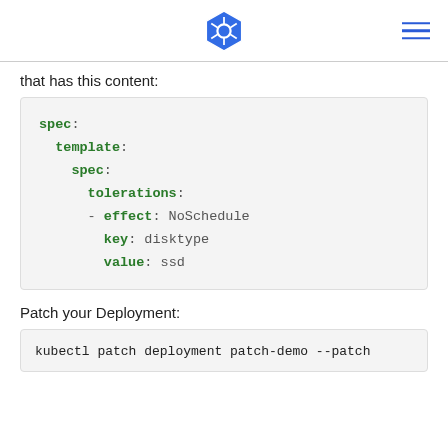Kubernetes logo and navigation
that has this content:
[Figure (screenshot): YAML code block showing spec.template.spec.tolerations with effect: NoSchedule, key: disktype, value: ssd]
Patch your Deployment:
[Figure (screenshot): Code block showing: kubectl patch deployment patch-demo --patch]